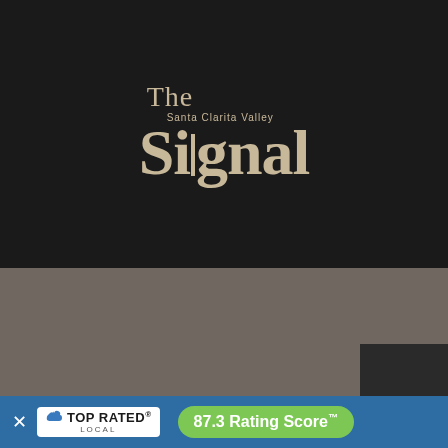[Figure (logo): The Santa Clarita Valley Signal newspaper logo on dark background. 'The' in serif font above large bold 'Signal' text, with 'Santa Clarita Valley' in small text between them. Tan/beige color on black background.]
““
[Figure (infographic): Top Rated Local banner with blue background showing X close button, Top Rated Local badge in white, and a green pill button with '87.3 Rating Score' trademark symbol.]